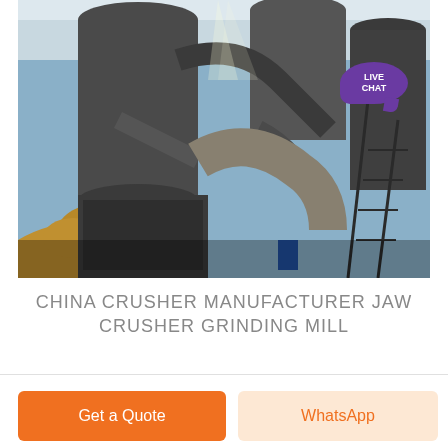[Figure (photo): Industrial grinding mill / crusher equipment in a factory setting. Large dark metal cylindrical machinery, pipes, ducts, and a yellow conveyor belt component visible. A purple speech bubble with 'LIVE CHAT' is overlaid in the top-right area.]
CHINA CRUSHER MANUFACTURER JAW CRUSHER GRINDING MILL
Get a Quote
WhatsApp